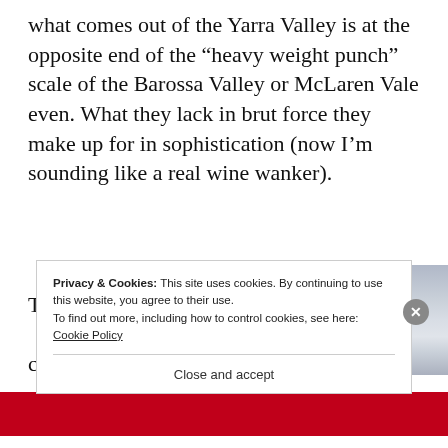what comes out of the Yarra Valley is at the opposite end of the “heavy weight punch” scale of the Barossa Valley or McLaren Vale even. What they lack in brut force they make up for in sophistication (now I’m sounding like a real wine wanker).
The climate
[Figure (photo): Overcast grey cloudy sky photograph]
Privacy & Cookies: This site uses cookies. By continuing to use this website, you agree to their use.
To find out more, including how to control cookies, see here: Cookie Policy
Close and accept